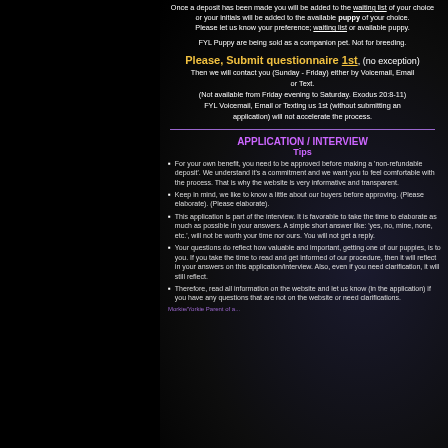Once a deposit has been made you will be added to the waiting list of your choice or your initials will be added to the available puppy of your choice. Please let us know your preference; waiting list or available puppy.
FYL Puppy are being sold as a companion pet. Not for breeding.
Please, Submit questionnaire 1st, (no exception) Then we will contact you (Sunday - Friday) either by Voicemail, Email or Text. (Not available from Friday evening to Saturday. Exodus 20:8-11) FYL Voicemail, Email or Texting us 1st (without submitting an application) will not accelerate the process.
APPLICATION / INTERVIEW
Tips
For your own benefit, you need to be approved before making a 'non-refundable deposit'. We understand it's a commitment and we want you to feel comfortable with the process. That is why the website is very informative and transparent.
Keep in mind, we like to know a little about our buyers before approving. (Please elaborate). (Please elaborate).
This application is part of the interview. It is favorable to take the time to elaborate as much as possible in your answers. A simple short answer like: 'yes, no, mine, none, etc.', will not be worth your time nor ours. You will not get a reply.
Your questions do reflect how valuable and important, getting one of our puppies, is to you. If you take the time to read and get informed of our procedure, then it will reflect in your answers on this application/interview. Also, even if you need clarification, it will still reflect.
Therefore, read all information on the website and let us know (in the application) if you have any questions that are not on the website or need clarifications.
Morkie/Yorkie Parent of a...